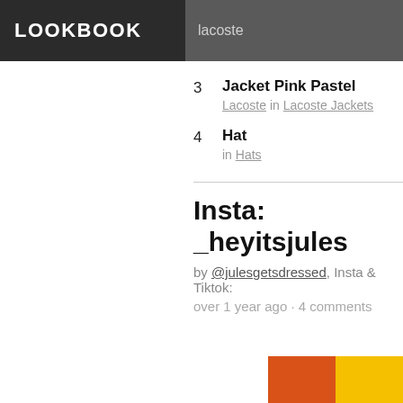LOOKBOOK  lacoste
3  Jacket Pink Pastel  Lacoste in Lacoste Jackets
4  Hat  in Hats
Insta: _heyitsjules
by @julesgetsdressed, Insta & Tiktok:
over 1 year ago · 4 comments
[Figure (photo): Partial photo showing orange and yellow color blocks, likely a fashion/lookbook image]